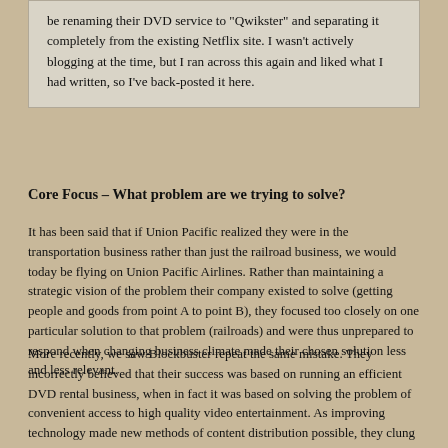be renaming their DVD service to "Qwikster" and separating it completely from the existing Netflix site. I wasn't actively blogging at the time, but I ran across this again and liked what I had written, so I've back-posted it here.
Core Focus – What problem are we trying to solve?
It has been said that if Union Pacific realized they were in the transportation business rather than just the railroad business, we would today be flying on Union Pacific Airlines. Rather than maintaining a strategic vision of the problem their company existed to solve (getting people and goods from point A to point B), they focused too closely on one particular solution to that problem (railroads) and were thus unprepared to respond when changing business climate made their chosen solution less and less relevant.
More recently, we saw Blockbuster repeat the same mistake. They incorrectly believed that their success was based on running an efficient DVD rental business, when in fact it was based on solving the problem of convenient access to high quality video entertainment. As improving technology made new methods of content distribution possible, they clung to their existing brick-and-mortar solution for far too long. And by the time they did try to explore other options, their years of inaction had given their competitors too much of a head start for them to stand a chance of catching up.
In order to understand the path forward for Netflix, we must first understand their core competence. As a consumer brand, the best